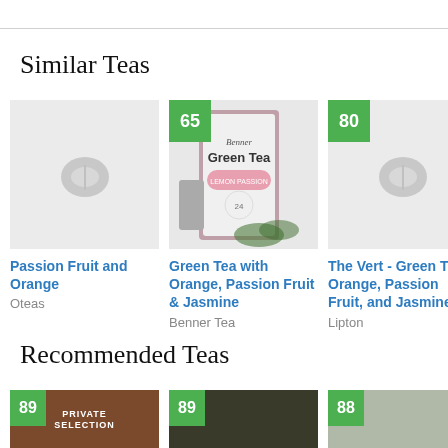Similar Teas
[Figure (photo): Placeholder tea leaf icon on grey background - no product image]
[Figure (photo): Photo of Benner Green Tea with Orange, Passion Fruit & Jasmine box, score badge 65]
[Figure (photo): Placeholder tea leaf icon on grey background - no product image, score badge 80]
Passion Fruit and Orange
Oteas
Green Tea with Orange, Passion Fruit & Jasmine
Benner Tea
The Vert - Green Tea Orange, Passion Fruit, and Jasmine
Lipton
Recommended Teas
[Figure (photo): Brown product packaging - Private Selection brand, score badge 89]
[Figure (photo): Dark tea leaves photo, score badge 89]
[Figure (photo): Light grey tea leaves photo, score badge 88]